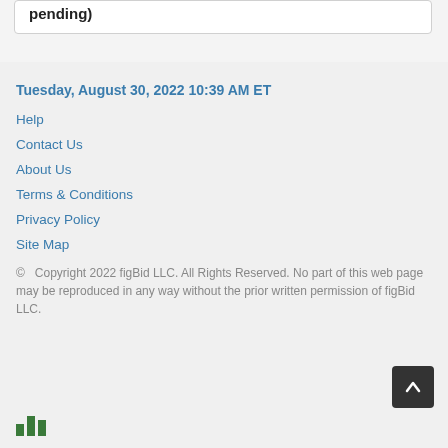pending)
Tuesday, August 30, 2022 10:39 AM ET
Help
Contact Us
About Us
Terms & Conditions
Privacy Policy
Site Map
© Copyright 2022 figBid LLC. All Rights Reserved. No part of this web page may be reproduced in any way without the prior written permission of figBid LLC.
[Figure (logo): Bar chart icon in green at bottom left]
[Figure (other): Back to top button with upward arrow, dark background, bottom right]